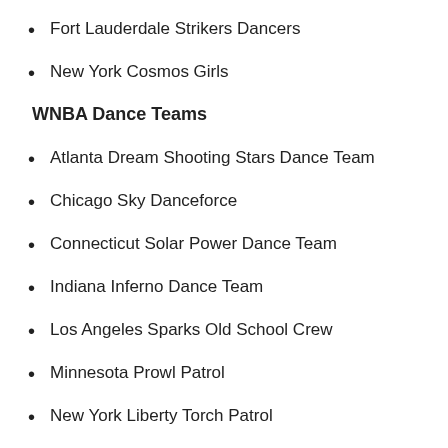Fort Lauderdale Strikers Dancers
New York Cosmos Girls
WNBA Dance Teams
Atlanta Dream Shooting Stars Dance Team
Chicago Sky Danceforce
Connecticut Solar Power Dance Team
Indiana Inferno Dance Team
Los Angeles Sparks Old School Crew
Minnesota Prowl Patrol
New York Liberty Torch Patrol
Phoenix Mercury Hip Hop Squad